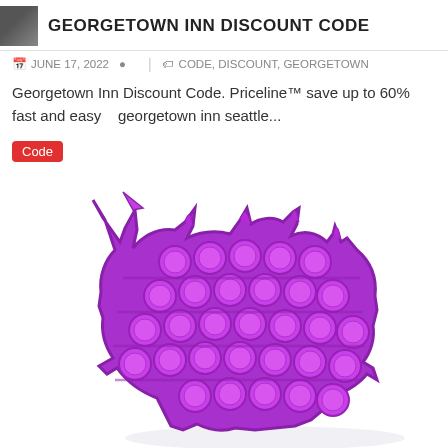GEORGETOWN INN DISCOUNT CODE
JUNE 17, 2022  |  CODE, DISCOUNT, GEORGETOWN
Georgetown Inn Discount Code. Priceline™ save up to 60% fast and easy   georgetown inn seattle...
Code
[Figure (photo): Purple unicorn-shaped pop-it fidget toy with bubble domes arranged in rows across the unicorn head silhouette, shown on white background.]